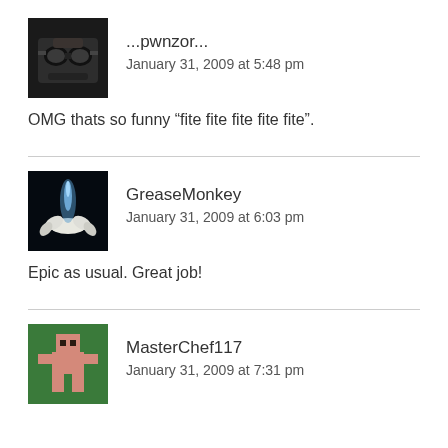[Figure (photo): Avatar image of user pwnzor, dark colored avatar with goggles/mask appearance]
...pwnzor...
January 31, 2009 at 5:48 pm
OMG thats so funny “fite fite fite fite fite”.
[Figure (photo): Avatar image of GreaseMonkey, dark background with white flower and blue light]
GreaseMonkey
January 31, 2009 at 6:03 pm
Epic as usual. Great job!
[Figure (photo): Avatar image of MasterChef117, pixel art character on green background]
MasterChef117
January 31, 2009 at 7:31 pm